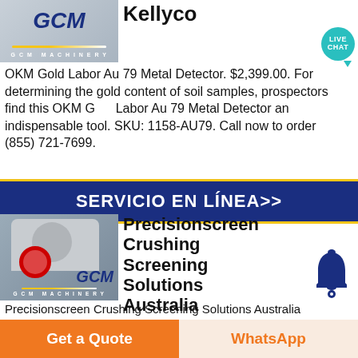[Figure (photo): GCM Machinery logo/photo at top left]
Kellyco
OKM Gold Labor Au 79 Metal Detector. $2,399.00. For determining the gold content of soil samples, prospectors find this OKM Gold Labor Au 79 Metal Detector an indispensable tool. SKU: 1158-AU79. Call now to order (855) 721-7699.
SERVICIO EN LÍNEA>>
[Figure (photo): GCM Machinery industrial crushing/screening equipment photo]
Precisionscreen Crushing Screening Solutions Australia
Precisionscreen Crushing Screening Solutions Australia
Get a Quote
WhatsApp